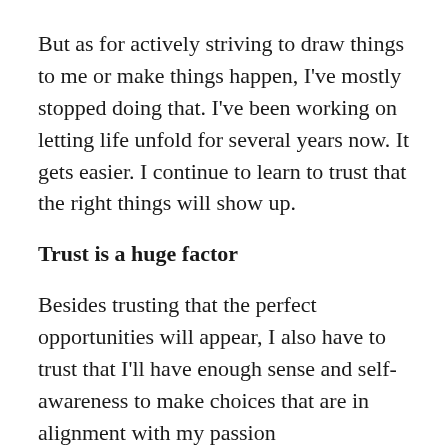But as for actively striving to draw things to me or make things happen, I've mostly stopped doing that. I've been working on letting life unfold for several years now. It gets easier. I continue to learn to trust that the right things will show up.
Trust is a huge factor
Besides trusting that the perfect opportunities will appear, I also have to trust that I'll have enough sense and self-awareness to make choices that are in alignment with my passion